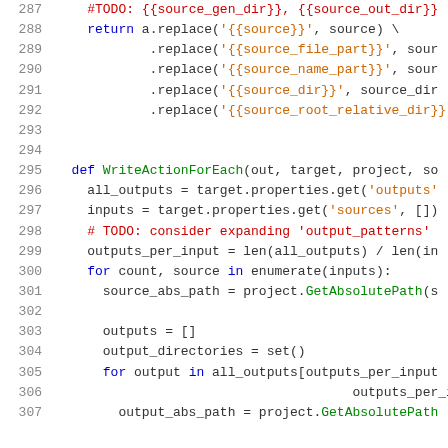[Figure (screenshot): Source code listing (Python) showing lines 287-307, with syntax highlighting. Line numbers in gray on the left, keywords in blue, strings in orange, comments in red, function names in green.]